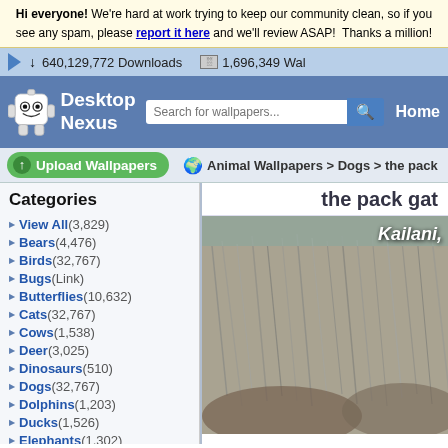Hi everyone! We're hard at work trying to keep our community clean, so if you see any spam, please report it here and we'll review ASAP! Thanks a million!
640,129,772 Downloads   1,696,349 Wal
[Figure (screenshot): Desktop Nexus logo with robot mascot, search bar, Home navigation]
Upload Wallpapers
Animal Wallpapers > Dogs > the pack
Categories
View All (3,829)
Bears (4,476)
Birds (32,767)
Bugs (Link)
Butterflies (10,632)
Cats (32,767)
Cows (1,538)
Deer (3,025)
Dinosaurs (510)
Dogs (32,767)
Dolphins (1,203)
Ducks (1,526)
Elephants (1,302)
Fish (3,162)
Frogs (5,708)
the pack gat
[Figure (photo): Photo of wolves/dogs with fur visible, text overlay 'Kailani,' in top right corner]